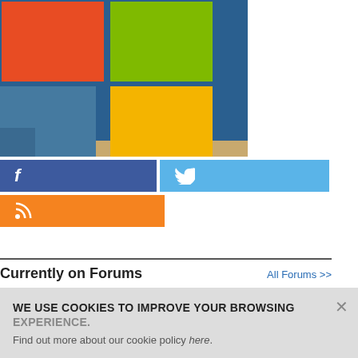[Figure (photo): Photo of Microsoft-style colored wall panels/boxes (orange, green, teal/blue, yellow) on a blue background wall with wood floor]
[Figure (infographic): Social media sharing buttons: Facebook (dark blue with 'f' icon), Twitter (light blue with bird icon), RSS (orange with RSS icon)]
Currently on Forums
All Forums >>
WE USE COOKIES TO IMPROVE YOUR BROWSING EXPERIENCE.
Find out more about our cookie policy here.